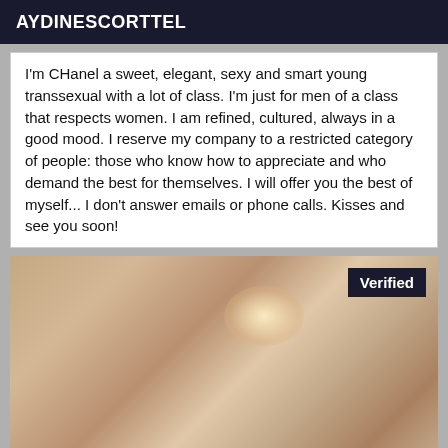AYDINESCORTTEL
I'm CHanel a sweet, elegant, sexy and smart young transsexual with a lot of class. I'm just for men of a class that respects women. I am refined, cultured, always in a good mood. I reserve my company to a restricted category of people: those who know how to appreciate and who demand the best for themselves. I will offer you the best of myself... I don't answer emails or phone calls. Kisses and see you soon!
[Figure (photo): Close-up photo of a person's ear and neck area with a 'Verified' badge overlay in the top right corner]